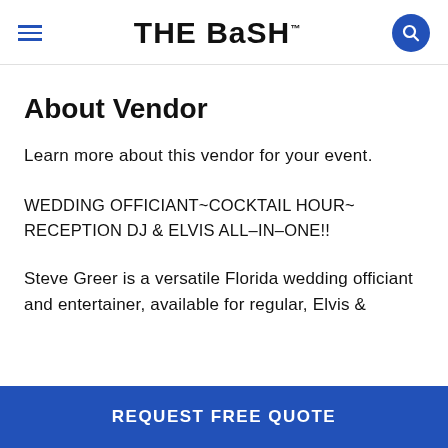THE BASH™
About Vendor
Learn more about this vendor for your event.
WEDDING OFFICIANT~COCKTAIL HOUR~ RECEPTION DJ & ELVIS ALL-IN-ONE!!
Steve Greer is a versatile Florida wedding officiant and entertainer, available for regular, Elvis &
REQUEST FREE QUOTE